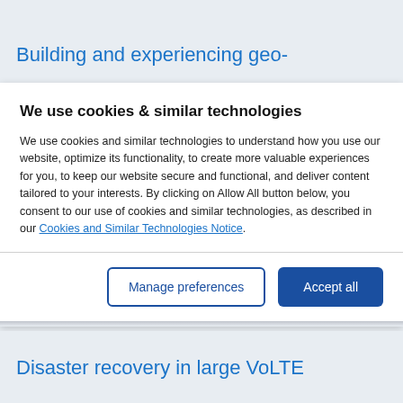Building and experiencing geo-
We use cookies & similar technologies
We use cookies and similar technologies to understand how you use our website, optimize its functionality, to create more valuable experiences for you, to keep our website secure and functional, and deliver content tailored to your interests. By clicking on Allow All button below, you consent to our use of cookies and similar technologies, as described in our Cookies and Similar Technologies Notice.
Manage preferences
Accept all
Disaster recovery in large VoLTE